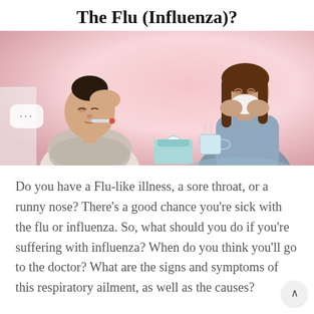The Flu (Influenza)?
[Figure (photo): Two women appearing sick: left woman holding thermometer to mouth with hand on forehead, wearing scarf; right woman sitting with tissues blowing her nose, holding a mug, on a pink background with tissue box nearby.]
Do you have a Flu-like illness, a sore throat, or a runny nose? There’s a good chance you’re sick with the flu or influenza. So, what should you do if you’re suffering with influenza? When do you think you’ll go to the doctor? What are the signs and symptoms of this respiratory ailment, as well as the causes?